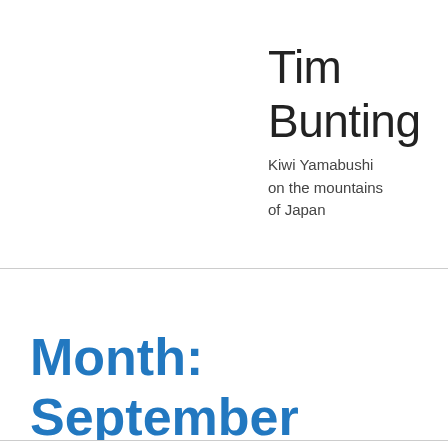Tim Bunting
Kiwi Yamabushi on the mountains of Japan
Month: September 2020